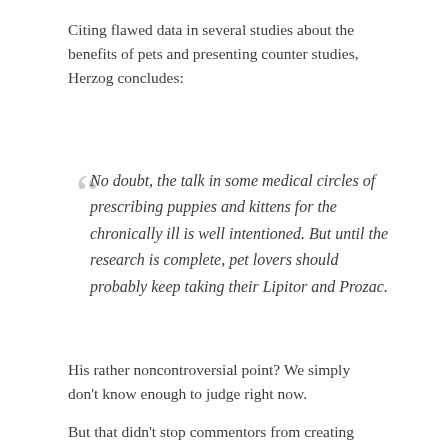Citing flawed data in several studies about the benefits of pets and presenting counter studies, Herzog concludes:
No doubt, the talk in some medical circles of prescribing puppies and kittens for the chronically ill is well intentioned. But until the research is complete, pet lovers should probably keep taking their Lipitor and Prozac.
His rather noncontroversial point? We simply don't know enough to judge right now.
But that didn't stop commentors from creating